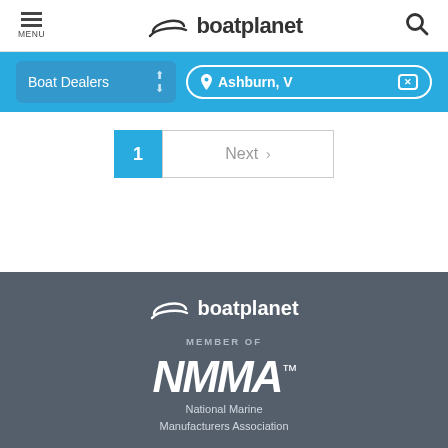MENU | boatplanet | search
[Figure (screenshot): Blue filter bar with 'Boat Dealers' dropdown and 'Ashburn, V' location input with X button]
[Figure (screenshot): Pagination bar with '1' active page button and 'Next >' button]
[Figure (logo): boatplanet logo in white on dark gray footer background]
MEMBER OF
[Figure (logo): NMMA logo - National Marine Manufacturers Association]
National Marine Manufacturers Association